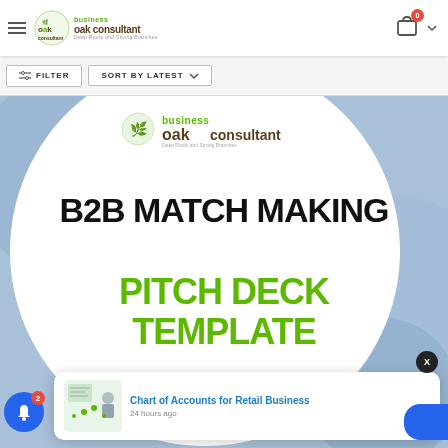OAK Business Consultant — Deep Roots and Strong Branches
FILTER | SORT BY LATEST
[Figure (screenshot): Product listing page showing B2B Match Making Pitch Deck Template with OAK Business Consultant logo on white circle background over blurred blue image]
Chart of Accounts for Retail Business
24 hours ago